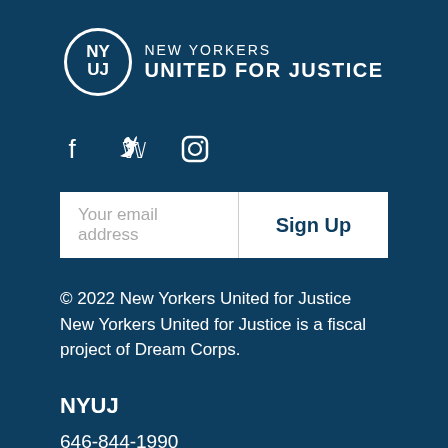[Figure (logo): New Yorkers United for Justice logo — circular emblem with 'NY' and 'UJ' lettering, next to text 'NEW YORKERS UNITED FOR JUSTICE']
[Figure (infographic): Social media icons: Facebook (f), Twitter (bird), Instagram (camera/circle)]
Your email address
Sign Up
© 2022 New Yorkers United for Justice New Yorkers United for Justice is a fiscal project of Dream Corps.
NYUJ
646-844-1990
68 Ninth Avenue